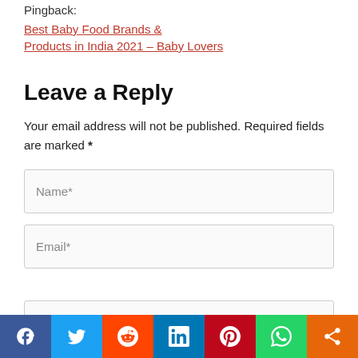Pingback: Best Baby Food Brands & Products in India 2021 – Baby Lovers
Leave a Reply
Your email address will not be published. Required fields are marked *
Name*
Email*
Website